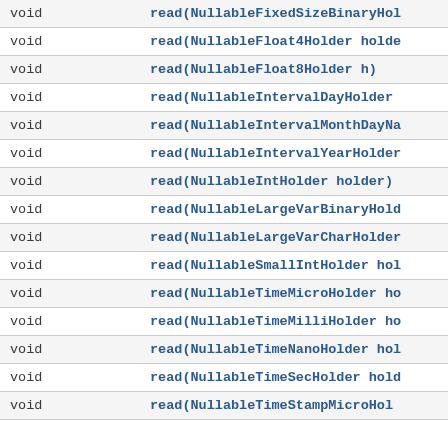| Return Type | Method |
| --- | --- |
| void | read(NullableFixedSizeBinaryHol… |
| void | read(NullableFloat4Holder holde… |
| void | read(NullableFloat8Holder h) |
| void | read(NullableIntervalDayHolder … |
| void | read(NullableIntervalMonthDayNa… |
| void | read(NullableIntervalYearHolder… |
| void | read(NullableIntHolder holder) |
| void | read(NullableLargeVarBinaryHold… |
| void | read(NullableLargeVarCharHolder… |
| void | read(NullableSmallIntHolder hol… |
| void | read(NullableTimeMicroHolder ho… |
| void | read(NullableTimeMilliHolder ho… |
| void | read(NullableTimeNanoHolder hol… |
| void | read(NullableTimeSecHolder hold… |
| void | read(NullableTimeStampMicroHol… |